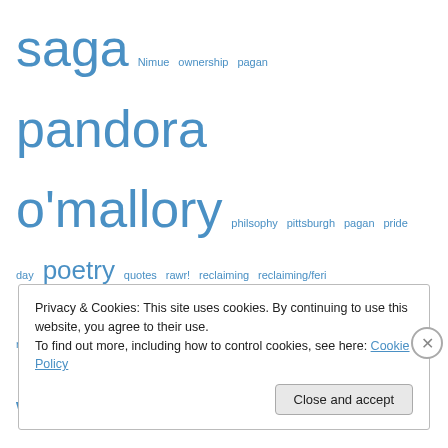saga Nimue ownership pagan pandora o'mallory philsophy pittsburgh pagan pride day poetry quotes rawr! reclaiming reclaiming/feri reclaiming core classes release religious work Sabbat contest sacred secrets shadow work spiralheart spiritual growth in fits and spurs spiritual practices spring surrender teachers tempus vernum the green and burning tree the growth of me the journey the power of dog three weeks for dreamwidth trust vow of poverty witchcamp witchcamp2012 wtf
Privacy & Cookies: This site uses cookies. By continuing to use this website, you agree to their use. To find out more, including how to control cookies, see here: Cookie Policy